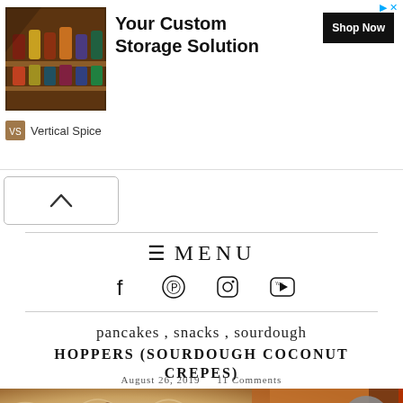[Figure (screenshot): Advertisement banner for Vertical Spice custom storage solution with product image, Shop Now button]
≡ MENU
[Figure (other): Social media icons: Facebook, Pinterest, Instagram, YouTube]
pancakes , snacks , sourdough
HOPPERS (SOURDOUGH COCONUT CREPES)
August 26, 2019   11 Comments
[Figure (photo): Close-up photo of hoppers (sourdough coconut crepes) showing bubbly, lacy texture with golden-brown edges]